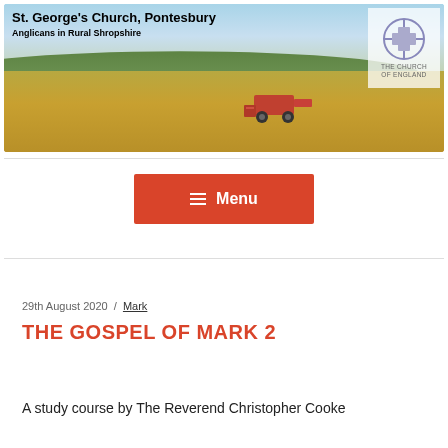[Figure (photo): Banner image of St. George's Church Pontesbury website header showing a harvest field with a combine harvester and countryside hills in the background, overlaid with church title text and the Church of England logo]
29th August 2020 / Mark
THE GOSPEL OF MARK 2
A study course by The Reverend Christopher Cooke